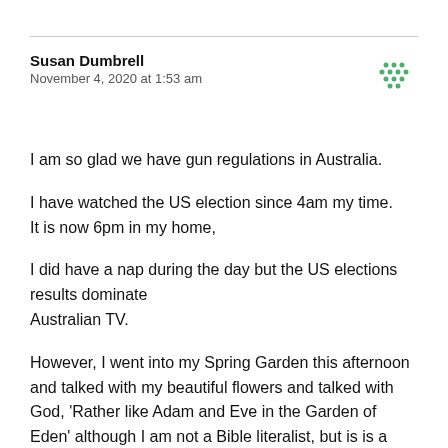Susan Dumbrell
November 4, 2020 at 1:53 am
[Figure (logo): Green dotted grid avatar/icon for user Susan Dumbrell]
I am so glad we have gun regulations in Australia.
I have watched the US election since 4am my time. It is now 6pm in my home,
I did have a nap during the day but the US elections results dominate
Australian TV.
However, I went into my Spring Garden this afternoon and talked with my beautiful flowers and talked with God, 'Rather like Adam and Eve in the Garden of Eden' although I am not a Bible literalist, but is is a nice